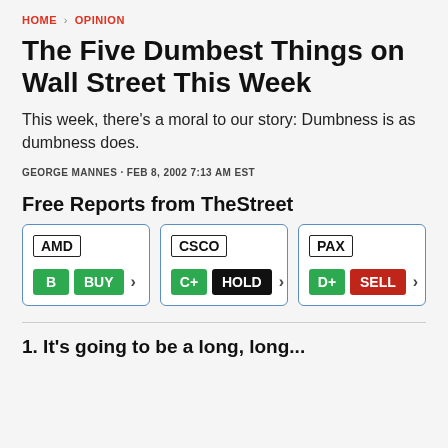HOME > OPINION
The Five Dumbest Things on Wall Street This Week
This week, there's a moral to our story: Dumbness is as dumbness does.
GEORGE MANNES · FEB 8, 2002 7:13 AM EST
Free Reports from TheStreet
[Figure (infographic): Three stock rating cards side by side. Card 1: AMD ticker, grade B (green), BUY (green), arrow. Card 2: CSCO ticker, grade C+ (green), HOLD (black), arrow. Card 3: PAX ticker, grade D+ (green), SELL (red), arrow.]
1. It's going to be a long, long...